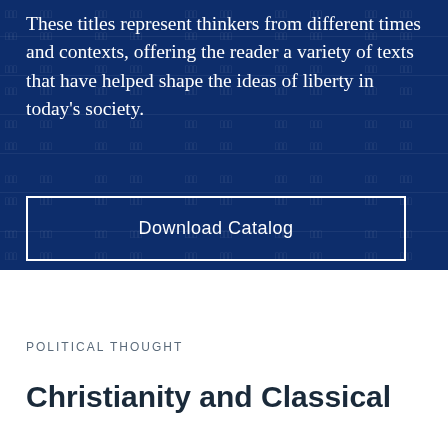These titles represent thinkers from different times and contexts, offering the reader a variety of texts that have helped shape the ideas of liberty in today's society.
Download Catalog
POLITICAL THOUGHT
Christianity and Classical